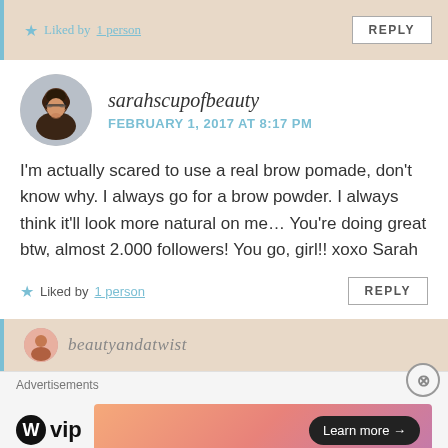★ Liked by 1 person
REPLY
[Figure (photo): Circular avatar photo of a woman with dark curly hair and glasses, smiling]
sarahscupofbeauty
FEBRUARY 1, 2017 AT 8:17 PM
I'm actually scared to use a real brow pomade, don't know why. I always go for a brow powder. I always think it'll look more natural on me... You're doing great btw, almost 2.000 followers! You go, girl!! xoxo Sarah
★ Liked by 1 person
REPLY
[Figure (screenshot): Partial next comment bar with small avatar and text beginning to appear]
Advertisements
[Figure (logo): WordPress VIP logo — WordPress W icon followed by 'vip' text]
[Figure (infographic): Colorful gradient ad banner with 'Learn more →' button]